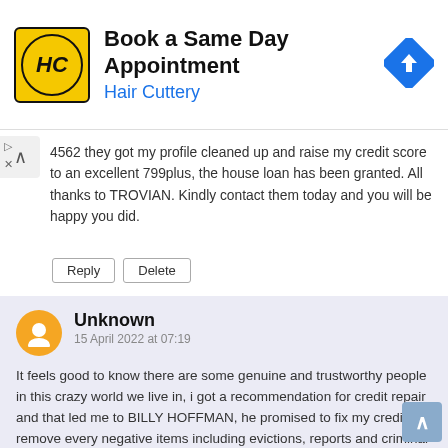[Figure (other): Hair Cuttery advertisement banner with logo, text 'Book a Same Day Appointment' and 'Hair Cuttery', and a blue navigation arrow icon]
4562 they got my profile cleaned up and raise my credit score to an excellent 799plus, the house loan has been granted. All thanks to TROVIAN. Kindly contact them today and you will be happy you did.
Reply  Delete
Unknown
15 April 2022 at 07:19
It feels good to know there are some genuine and trustworthy people in this crazy world we live in, i got a recommendation for credit repair and that led me to BILLY HOFFMAN, he promised to fix my credit and remove every negative items including evictions, reports and criminal records, he boosted my credit score above my expectation, i gave it a shot and it worked for me, he fixed my credit as promised and i can buy a house now, if you need his service you can reach him via his email BILLYHOFFMANCYBERGENIUS@GMAIL.COM OR (724)